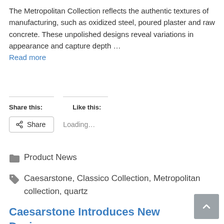The Metropolitan Collection reflects the authentic textures of manufacturing, such as oxidized steel, poured plaster and raw concrete. These unpolished designs reveal variations in appearance and capture depth … Read more
Share this:   Like this:
Share   Loading...
Product News
Caesarstone, Classico Collection, Metropolitan collection, quartz
Caesarstone Introduces New Designs